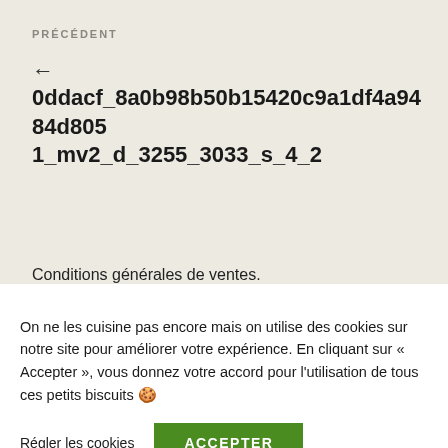PRÉCÉDENT
←
0ddacf_8a0b98b50b15420c9a1df4a9484d8051_mv2_d_3255_3033_s_4_2
Conditions générales de ventes.
On ne les cuisine pas encore mais on utilise des cookies sur notre site pour améliorer votre expérience. En cliquant sur « Accepter », vous donnez votre accord pour l'utilisation de tous ces petits biscuits 🍪
Régler les cookies
ACCEPTER